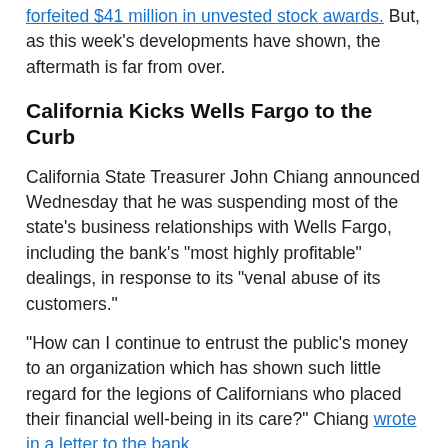forfeited $41 million in unvested stock awards. But, as this week's developments have shown, the aftermath is far from over.
California Kicks Wells Fargo to the Curb
California State Treasurer John Chiang announced Wednesday that he was suspending most of the state's business relationships with Wells Fargo, including the bank's "most highly profitable" dealings, in response to its "venal abuse of its customers."
"How can I continue to entrust the public's money to an organization which has shown such little regard for the legions of Californians who placed their financial well-being in its care?" Chiang wrote in a letter to the bank.
Chiang, who is currently running for governor in 2018, said he would no longer allow Wells Fargo to underwrite certain municipal bonds, would make no further investments in